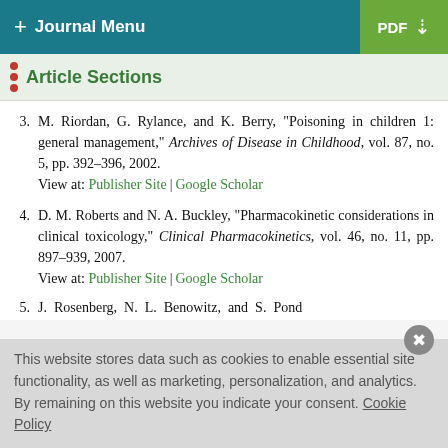+ Journal Menu | PDF
Article Sections
3. M. Riordan, G. Rylance, and K. Berry, "Poisoning in children 1: general management," Archives of Disease in Childhood, vol. 87, no. 5, pp. 392–396, 2002. View at: Publisher Site | Google Scholar
4. D. M. Roberts and N. A. Buckley, "Pharmacokinetic considerations in clinical toxicology," Clinical Pharmacokinetics, vol. 46, no. 11, pp. 897–939, 2007. View at: Publisher Site | Google Scholar
5. J. Rosenberg, N. L. Benowitz, and S. Pond
This website stores data such as cookies to enable essential site functionality, as well as marketing, personalization, and analytics. By remaining on this website you indicate your consent. Cookie Policy